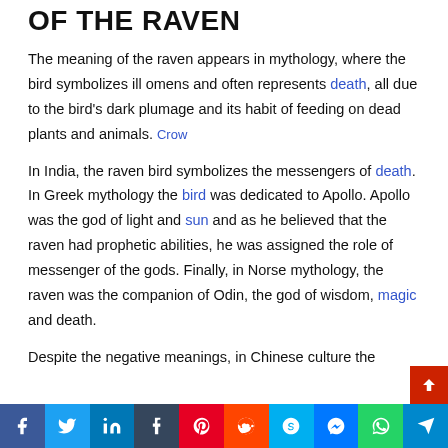OF THE RAVEN
The meaning of the raven appears in mythology, where the bird symbolizes ill omens and often represents death, all due to the bird's dark plumage and its habit of feeding on dead plants and animals. Crow
In India, the raven bird symbolizes the messengers of death. In Greek mythology the bird was dedicated to Apollo. Apollo was the god of light and sun and as he believed that the raven had prophetic abilities, he was assigned the role of messenger of the gods. Finally, in Norse mythology, the raven was the companion of Odin, the god of wisdom, magic and death.
Despite the negative meanings, in Chinese culture the